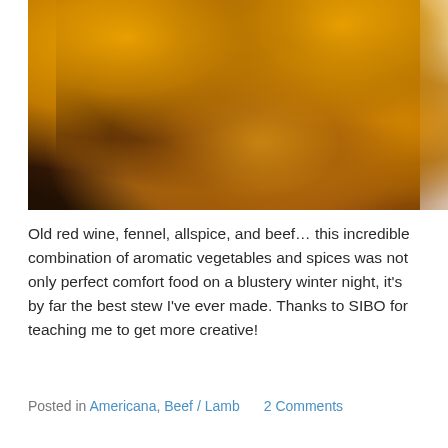[Figure (photo): Close-up photo of a hearty beef stew with large chunks of orange/yellow vegetables (squash or carrots), dark braised meat, and a rich dark sauce with spices visible on top, served in a dark pot or bowl.]
Old red wine, fennel, allspice, and beef… this incredible combination of aromatic vegetables and spices was not only perfect comfort food on a blustery winter night, it's by far the best stew I've ever made. Thanks to SIBO for teaching me to get more creative!
Posted in Americana, Beef / Lamb   2 Comments